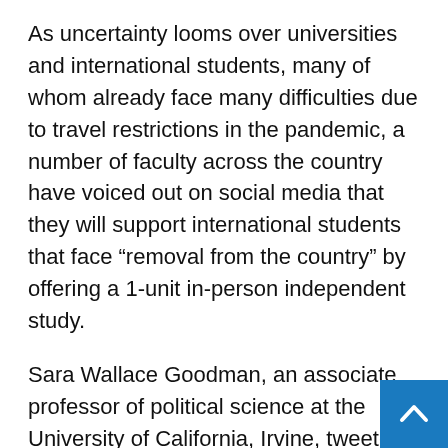As uncertainty looms over universities and international students, many of whom already face many difficulties due to travel restrictions in the pandemic, a number of faculty across the country have voiced out on social media that they will support international students that face “removal from the country” by offering a 1-unit in-person independent study.
Sara Wallace Goodman, an associate professor of political science at the University of California, Irvine, tweeted that she’ll do one-unit courses to help students remain in the US. Her tweet has garnered attention from faculty and students across the country.
She told Insider that she’d like to see other professors commit to similar strategies, as well